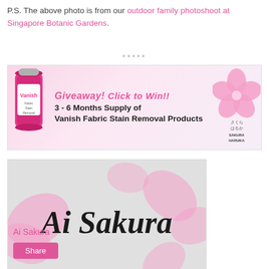P.S. The above photo is from our outdoor family photoshoot at Singapore Botanic Gardens.
*****
[Figure (illustration): Giveaway banner for Vanish Fabric Stain Removal Products - 3 to 6 months supply, with pink Vanish can on left and Sakura Haruka logo on right]
[Figure (logo): Ai Sakura blog logo - cursive black text on light grey background with pink cherry blossom petal decorations]
Ai Sakura
Share